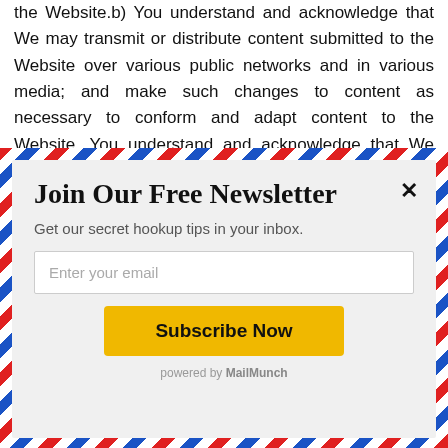the Website.b) You understand and acknowledge that We may transmit or distribute content submitted to the Website over various public networks and in various media; and make such changes to content as necessary to conform and adapt content to the Website. You understand and acknowledge that We may make content available to other companies, business firms, organizations or individuals for Our own business purposes. You agree that the license You
Join Our Free Newsletter
Get our secret hookup tips in your inbox.
Enter your email
Subscribe Now
powered by MailMunch